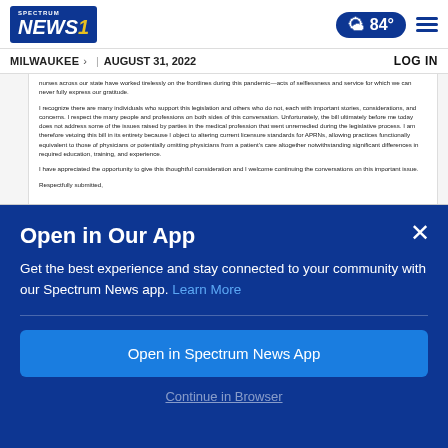Spectrum NEWS 1 — 84° — MILWAUKEE | AUGUST 31, 2022 — LOG IN
nurses across our state have worked tirelessly on the frontlines during this pandemic—acts of selflessness and service for which we can never fully express our gratitude.

I recognize there are many individuals who support this legislation and others who do not, each with important stories, considerations, and concerns. I respect the many people and professions on both sides of this conversation. Unfortunately, the bill ultimately before me today does not address some of the issues raised by parties in the medical profession that went unremedied during the legislative process. I am therefore vetoing this bill in its entirety because I object to altering current licensure standards for APRNs, allowing practices functionally equivalent to those of physicians or potentially omitting physicians from a patient's care altogether notwithstanding significant differences in required education, training, and experience.

I have appreciated the opportunity to give this thoughtful consideration and I welcome continuing the conversations on this important issue.

Respectfully submitted,
Open in Our App
Get the best experience and stay connected to your community with our Spectrum News app. Learn More
Open in Spectrum News App
Continue in Browser